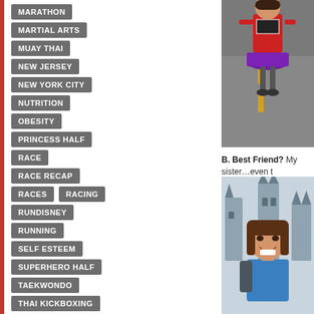MARATHON
MARTIAL ARTS
MUAY THAI
NEW JERSEY
NEW YORK CITY
NUTRITION
OBESITY
PRINCESS HALF
RACE
RACE RECAP
RACES
RACING
RUNDISNEY
RUNNING
SELF ESTEEM
SUPERHERO HALF
TAEKWONDO
THAI KICKBOXING
[Figure (photo): Runner in red top and purple sparkle skirt on a road]
B. Best Friend? My sister…even t
[Figure (photo): Smiling girl with brown hair in blue shirt in front of a castle]